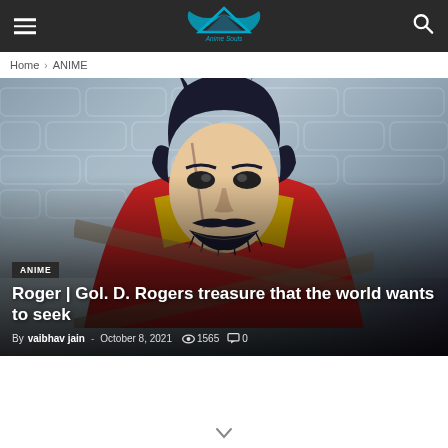Anime Souls — site header with hamburger menu and search icon
Home › ANIME
[Figure (illustration): Anime character Gol D. Roger from One Piece, close-up face with dark hair, scar, mustache, smiling menacingly, wearing a red cape and yellow outfit, brick wall background]
ANIME
Roger | Gol. D. Rogers treasure that the world wants to seek
By vaibhav jain - October 8, 2021  👁 1565  💬 0